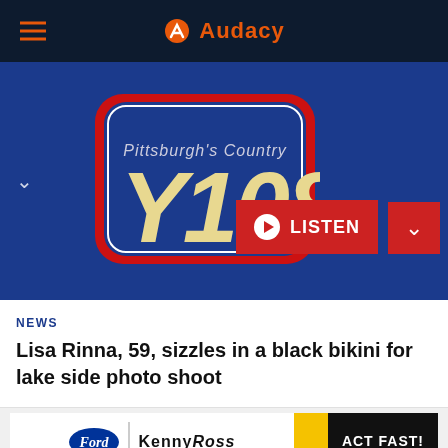Audacy
[Figure (logo): Y108 Pittsburgh's Country radio station logo — blue badge with red outline and large Y108 lettering]
[Figure (screenshot): LISTEN button (red) with play icon, and a dropdown chevron button]
NEWS
Lisa Rinna, 59, sizzles in a black bikini for lake side photo shoot
[Figure (screenshot): Advertisement banner: Ford | Kenny Ross | ACT FAST! on yellow background]
• Y108
[Figure (screenshot): Orange play button circle outline for Y108 radio player]